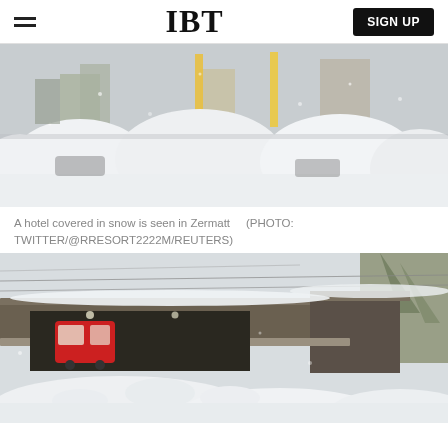IBT  SIGN UP
[Figure (photo): A hotel covered in snow in Zermatt, cars buried under deep snow mounds, buildings visible in background through snowfall.]
A hotel covered in snow is seen in Zermatt  (PHOTO: TWITTER/@RRESORT2222M/REUTERS)
[Figure (photo): A red train or tram visible inside a building or tunnel, with heavy snow piled in front, snowy mountain trees in background.]